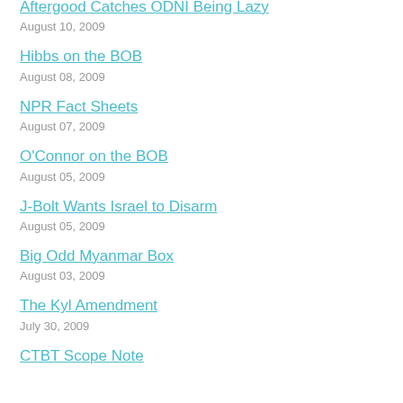Aftergood Catches ODNI Being Lazy
August 10, 2009
Hibbs on the BOB
August 08, 2009
NPR Fact Sheets
August 07, 2009
O'Connor on the BOB
August 05, 2009
J-Bolt Wants Israel to Disarm
August 05, 2009
Big Odd Myanmar Box
August 03, 2009
The Kyl Amendment
July 30, 2009
CTBT Scope Note